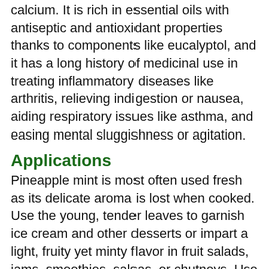calcium. It is rich in essential oils with antiseptic and antioxidant properties thanks to components like eucalyptol, and it has a long history of medicinal use in treating inflammatory diseases like arthritis, relieving indigestion or nausea, aiding respiratory issues like asthma, and easing mental sluggishness or agitation.
Applications
Pineapple mint is most often used fresh as its delicate aroma is lost when cooked. Use the young, tender leaves to garnish ice cream and other desserts or impart a light, fruity yet minty flavor in fruit salads, jams, smoothies, salsas, or chutneys. Use larger, coarser leaves to infuse oils, vinaigrettes, sauces, beverages like hot or iced tea, or simple syrup, which can even be used to glaze ham. Pineapple mint can also be muddled in pina coladas or mojitos, dried for making tea or potpourri, and just like apple mint, it is a favorite for making mint jelly. It pairs well with lamb, chicken, or even tropical fruits and...